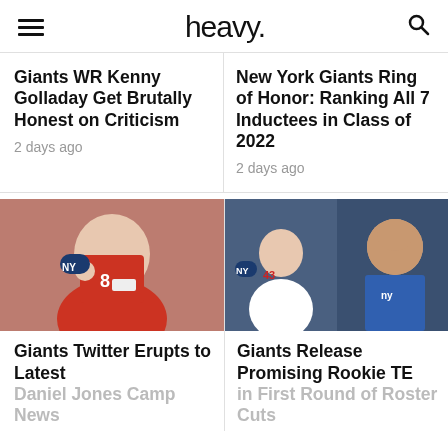heavy.
Giants WR Kenny Golladay Get Brutally Honest on Criticism
2 days ago
New York Giants Ring of Honor: Ranking All 7 Inductees in Class of 2022
2 days ago
[Figure (photo): Giants quarterback in red jersey throwing a football at practice]
[Figure (photo): Two New York Giants related photos: a player on field and a bald coach in blue NY Giants jacket]
Giants Twitter Erupts to Latest Daniel Jones Camp News
Giants Release Promising Rookie TE in First Round of Roster Cuts